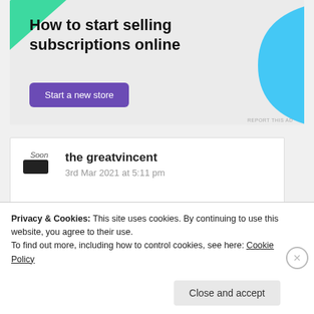[Figure (infographic): Advertisement banner with green triangle top-left, blue curved shape top-right, bold headline 'How to start selling subscriptions online', and a purple 'Start a new store' button]
How to start selling subscriptions online
Start a new store
the greatvincent
3rd Mar 2021 at 5:11 pm
Privacy & Cookies: This site uses cookies. By continuing to use this website, you agree to their use.
To find out more, including how to control cookies, see here: Cookie Policy
Close and accept